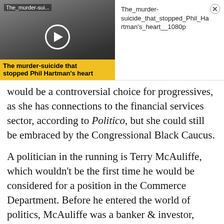[Figure (screenshot): Video thumbnail for 'The murder-suicide that stopped Phil Hartman's heart' showing a black and white photo of a man with a play button overlay and yellow caption bar]
The_murder-suicide_that_stopped_Phil_Hartman's_heart__1080p
would be a controversial choice for progressives, as she has connections to the financial services sector, according to Politico, but she could still be embraced by the Congressional Black Caucus.
A politician in the running is Terry McAuliffe, which wouldn't be the first time he would be considered for a position in the Commerce Department. Before he entered the world of politics, McAuliffe was a banker & investor,